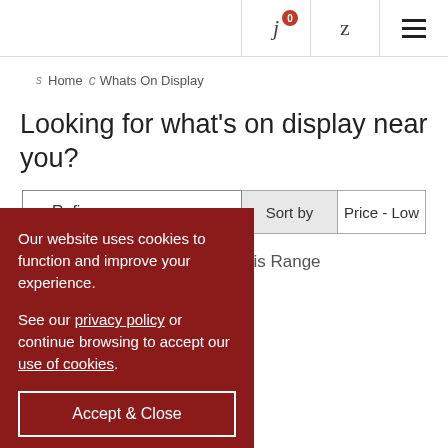j 0  z  ☰
s  Home  c  Whats On Display
Looking for what's on display near you?
A Refine   Sort by   Price - Low
his Range
Our website uses cookies to function and improve your experience.

See our privacy policy or continue browsing to accept our use of cookies.
Accept & Close